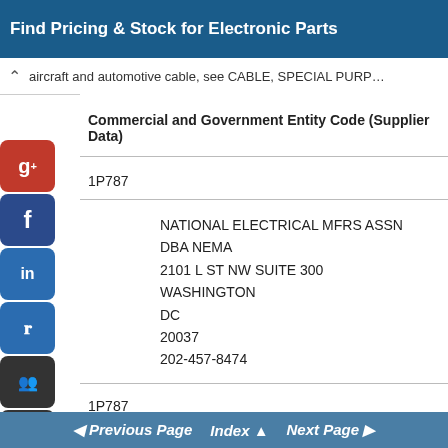Find Pricing & Stock for Electronic Parts
aircraft and automotive cable, see CABLE, SPECIAL PURPO...
Commercial and Government Entity Code (Supplier Data)
1P787
NATIONAL ELECTRICAL MFRS ASSN
DBA NEMA
2101 L ST NW SUITE 300
WASHINGTON
DC
20037
202-457-8474
1P787
Previous Page  Index  Next Page